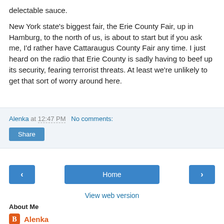delectable sauce.
New York state's biggest fair, the Erie County Fair, up in Hamburg, to the north of us, is about to start but if you ask me, I'd rather have Cattaraugus County Fair any time. I just heard on the radio that Erie County is sadly having to beef up its security, fearing terrorist threats. At least we're unlikely to get that sort of worry around here.
Alenka at 12:47 PM   No comments:
Share
< Home >
View web version
About Me
Alenka
Alenka Lawrence worked for the BBC World Service in London as a